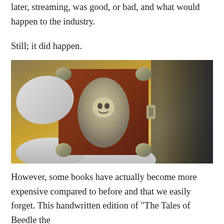later, streaming, was good, or bad, and what would happen to the industry.
Still; it did happen.
[Figure (photo): Gloved hands holding an ornate leather-bound book with elaborate silver metalwork decorations including a skull motif on the cover, against a blurred colorful background.]
However, some books have actually become more expensive compared to before and that we easily forget. This handwritten edition of “The Tales of Beedle the